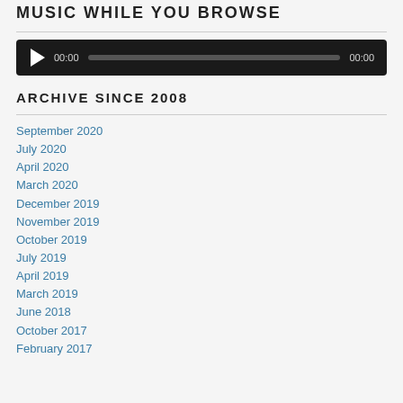MUSIC WHILE YOU BROWSE
[Figure (other): Audio player widget with dark background, play button, time labels 00:00 and 00:00, and a progress bar]
ARCHIVE SINCE 2008
September 2020
July 2020
April 2020
March 2020
December 2019
November 2019
October 2019
July 2019
April 2019
March 2019
June 2018
October 2017
February 2017